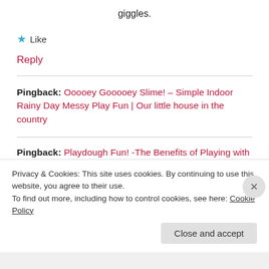giggles.
★ Like
Reply
Pingback: Ooooey Gooooey Slime! – Simple Indoor Rainy Day Messy Play Fun | Our little house in the country
Pingback: Playdough Fun! -The Benefits of Playing with Playdough and A Round Up of Our Playdough
Privacy & Cookies: This site uses cookies. By continuing to use this website, you agree to their use.
To find out more, including how to control cookies, see here: Cookie Policy
Close and accept